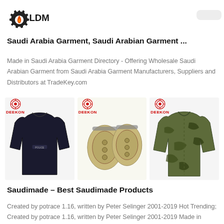[Figure (logo): LDM logo with gear/flame icon and text LDM, partial shoe image in background]
Saudi Arabia Garment, Saudi Arabian Garment ...
Made in Saudi Arabia Garment Directory - Offering Wholesale Saudi Arabian Garment from Saudi Arabia Garment Manufacturers, Suppliers and Distributors at TradeKey.com
[Figure (photo): Three product images each with DEEKON logo: black jacket, tan knee pads, camouflage military jacket]
Saudimade – Best Saudimade Products
Created by potrace 1.16, written by Peter Selinger 2001-2019 Hot Trending; Created by potrace 1.16, written by Peter Selinger 2001-2019 Made in Makkah